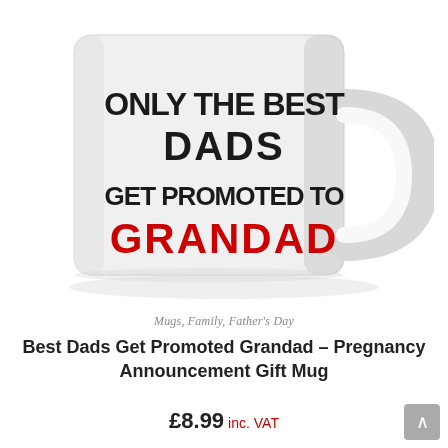[Figure (photo): A white ceramic mug with black and red text reading 'ONLY THE BEST DADS GET PROMOTED TO GRANDAD' where GRANDAD is in bold red and the rest is in black bold sans-serif font. The mug has a handle on the right side.]
Mugs, Family, Father's Day
Best Dads Get Promoted Grandad – Pregnancy Announcement Gift Mug
£8.99 inc. VAT